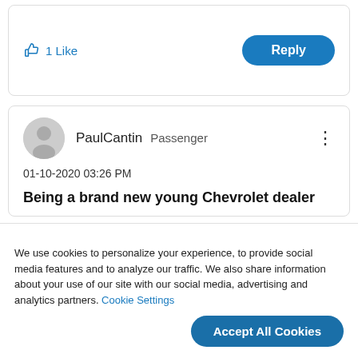1 Like
Reply
PaulCantin  Passenger
01-10-2020 03:26 PM
Being a brand new young Chevrolet dealer
We use cookies to personalize your experience, to provide social media features and to analyze our traffic. We also share information about your use of our site with our social media, advertising and analytics partners. Cookie Settings
Accept All Cookies